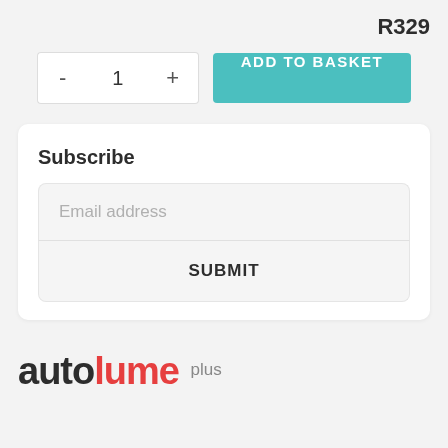R329
- 1 + ADD TO BASKET
Subscribe
Email address
SUBMIT
[Figure (logo): autolume plus logo — 'auto' in dark charcoal, 'lume' in red, 'plus' in small grey text superscript]